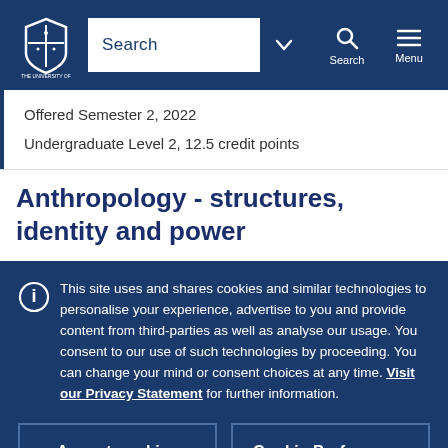[Figure (screenshot): University of Melbourne website navigation bar with logo, search box, search icon and menu icon]
Offered Semester 2, 2022
Undergraduate Level 2, 12.5 credit points
Anthropology - structures, identity and power
This site uses and shares cookies and similar technologies to personalise your experience, advertise to you and provide content from third-parties as well as analyse our usage. You consent to our use of such technologies by proceeding. You can change your mind or consent choices at any time. Visit our Privacy Statement for further information.
Accept cookies
Cookie Preferences